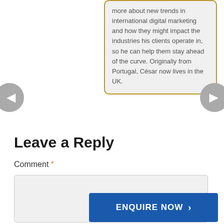more about new trends in international digital marketing and how they might impact the industries his clients operate in, so he can help them stay ahead of the curve. Originally from Portugal, César now lives in the UK.
[Figure (other): Left navigation arrow button (grey circle with left-pointing triangle)]
[Figure (other): Right navigation arrow button (grey circle with right-pointing triangle)]
Leave a Reply
Comment *
[Figure (other): Comment text area input box (light grey background)]
[Figure (other): ENQUIRE NOW button with right arrow chevron, blue background]